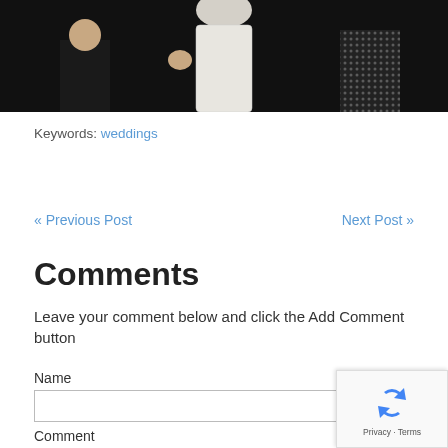[Figure (photo): Top portion of a photograph showing people at what appears to be a formal event, with a person in a white dress and another in a black sequined dress, dark background]
Keywords: weddings
« Previous Post
Next Post »
Comments
Leave your comment below and click the Add Comment button
Name
Comment